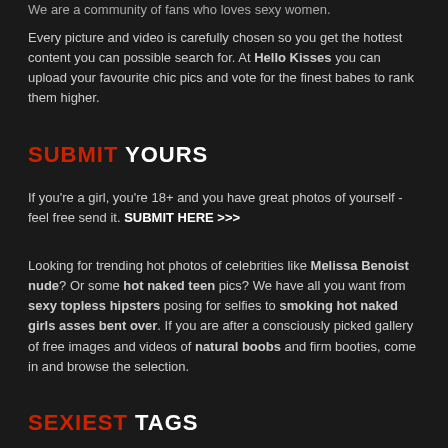We are a community of fans who loves sexy women. Every picture and video is carefully chosen so you get the hottest content you can possible search for. At Hello Kisses you can upload your favourite chic pics and vote for the finest babes to rank them higher.
SUBMIT YOURS
If you're a girl, you're 18+ and you have great photos of yourself - feel free send it. SUBMIT HERE >>>
Looking for trending hot photos of celebrities like Melissa Benoist nude? Or some hot naked teen pics? We have all you want from sexy topless hipsters posing for selfies to smoking hot naked girls asses bent over. If you are after a consciously picked gallery of free images and videos of natural boobs and firm booties, come in and browse the selection.
SEXIEST TAGS